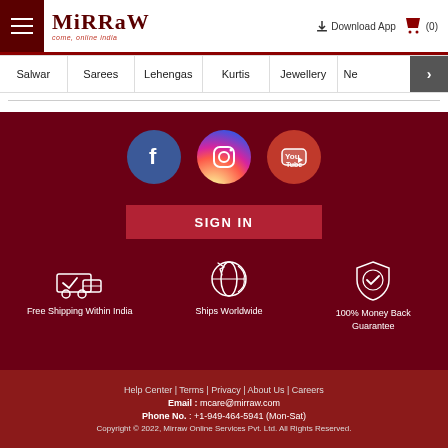Mirraw — come, online India
Salwar | Sarees | Lehengas | Kurtis | Jewellery | Ne >
[Figure (screenshot): Social media icons: Facebook, Instagram, YouTube circles on dark red background]
SIGN IN
Free Shipping Within India
Ships Worldwide
100% Money Back Guarantee
Help Center | Terms | Privacy | About Us | Careers
Email : mcare@mirraw.com
Phone No. : +1-949-464-5941 (Mon-Sat)
Copyright © 2022, Mirraw Online Services Pvt. Ltd. All Rights Reserved.